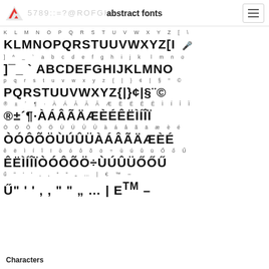abstract fonts
[Figure (illustration): Font character map specimen showing rows of characters in small gray reference text above large bold display font renderings. Characters include uppercase letters, digits, special symbols, accented characters, and punctuation across multiple rows.]
Characters